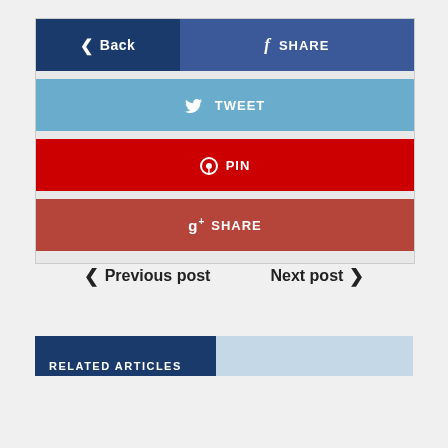[Figure (screenshot): Social sharing button bar with Back, Facebook Share, Tweet, Pinterest Pin, Google+ Share buttons, navigation links (Previous post, Next post), and Related Articles section header]
< Back
f SHARE
TWEET
PIN
g+ SHARE
< Previous post
Next post >
RELATED ARTICLES